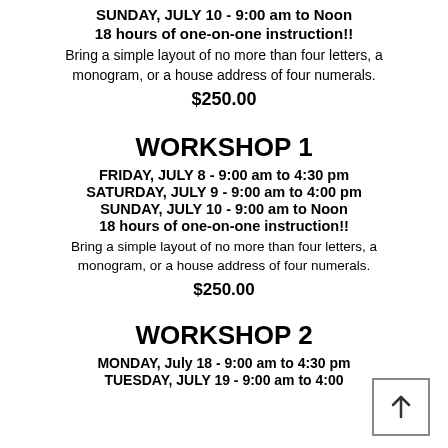SUNDAY, JULY 10 - 9:00 am to Noon
18 hours of one-on-one instruction!!
Bring a simple layout of no more than four letters, a monogram, or a house address of four numerals.
$250.00
WORKSHOP 1
FRIDAY, JULY 8 - 9:00 am to 4:30 pm
SATURDAY, JULY 9 - 9:00 am to 4:00 pm
SUNDAY, JULY 10 - 9:00 am to Noon
18 hours of one-on-one instruction!!
Bring a simple layout of no more than four letters, a monogram, or a house address of four numerals.
$250.00
WORKSHOP 2
MONDAY, July 18 - 9:00 am to 4:30 pm
TUESDAY, JULY 19 - 9:00 am to 4:00